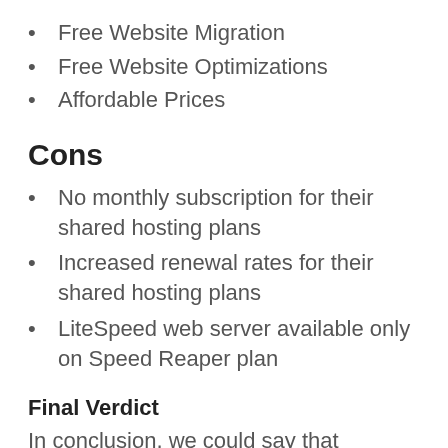Free Website Migration
Free Website Optimizations
Affordable Prices
Cons
No monthly subscription for their shared hosting plans
Increased renewal rates for their shared hosting plans
LiteSpeed web server available only on Speed Reaper plan
Final Verdict
In conclusion, we could say that HostArmada manages to cover the most important aspects of a high-standard hosting service. Combined with their competitive prices, we would